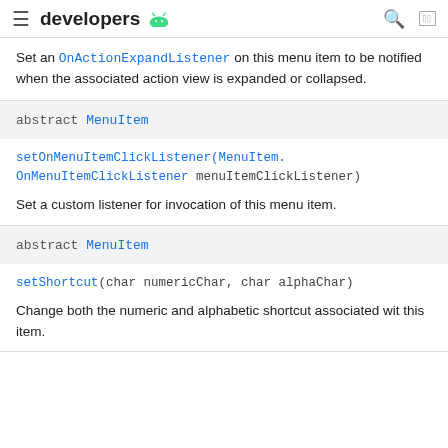≡ developers 🤖 🔍 🌐
Set an OnActionExpandListener on this menu item to be notified when the associated action view is expanded or collapsed.
abstract MenuItem
setOnMenuItemClickListener(MenuItem.OnMenuItemClickListener menuItemClickListener)
Set a custom listener for invocation of this menu item.
abstract MenuItem
setShortcut(char numericChar, char alphaChar)
Change both the numeric and alphabetic shortcut associated wit this item.